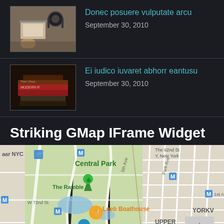[Figure (photo): Thumbnail image of books and headphones on a table]
Donec posuere vulputate arcu
September 30, 2010
[Figure (photo): Thumbnail image of stacked books]
Ei iudico iuvaret abhorr eantusu
September 30, 2010
Striking GMap IFrame Widget
[Figure (map): Google Map showing Central Park area in New York City with landmarks including The Ramble, Loeb Boathouse, Bethesda Terrace, The Frick Collection, Upper East Side, and Yorkville neighborhoods]